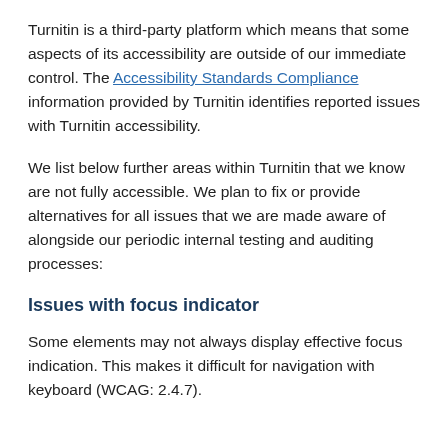Turnitin is a third-party platform which means that some aspects of its accessibility are outside of our immediate control. The Accessibility Standards Compliance information provided by Turnitin identifies reported issues with Turnitin accessibility.
We list below further areas within Turnitin that we know are not fully accessible. We plan to fix or provide alternatives for all issues that we are made aware of alongside our periodic internal testing and auditing processes:
Issues with focus indicator
Some elements may not always display effective focus indication. This makes it difficult for navigation with keyboard (WCAG: 2.4.7).